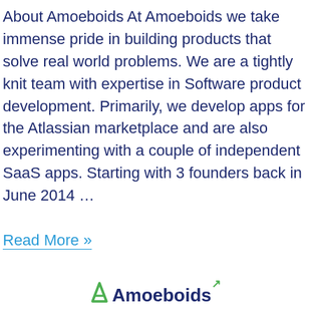About Amoeboids At Amoeboids we take immense pride in building products that solve real world problems. We are a tightly knit team with expertise in Software product development. Primarily, we develop apps for the Atlassian marketplace and are also experimenting with a couple of independent SaaS apps. Starting with 3 founders back in June 2014 …
Read More »
[Figure (logo): Amoeboids logo with a green 'A' icon and dark blue text reading 'Amoeboids' with a green arrow superscript]